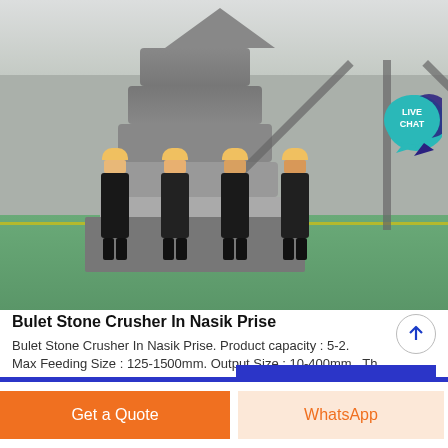[Figure (photo): Industrial factory interior with a large cone crusher machine and four workers in black uniforms and yellow hard hats standing in front of it. A 'LIVE CHAT' bubble appears in the upper right corner.]
Bulet Stone Crusher In Nasik Prise
Bulet Stone Crusher In Nasik Prise. Product capacity : 5-2. Max Feeding Size : 125-1500mm. Output Size : 10-400mm . Th...
УНЭ АВАХ
Get a Quote
WhatsApp